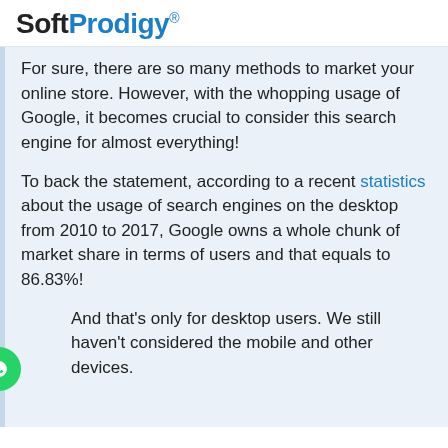SoftProdigy®
For sure, there are so many methods to market your online store. However, with the whopping usage of Google, it becomes crucial to consider this search engine for almost everything!
To back the statement, according to a recent statistics about the usage of search engines on the desktop from 2010 to 2017, Google owns a whole chunk of market share in terms of users and that equals to 86.83%!
And that's only for desktop users. We still haven't considered the mobile and other devices.